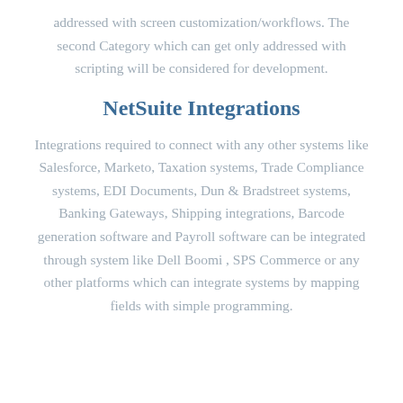addressed with screen customization/workflows. The second Category which can get only addressed with scripting will be considered for development.
NetSuite Integrations
Integrations required to connect with any other systems like Salesforce, Marketo, Taxation systems, Trade Compliance systems, EDI Documents, Dun & Bradstreet systems, Banking Gateways, Shipping integrations, Barcode generation software and Payroll software can be integrated through system like Dell Boomi , SPS Commerce or any other platforms which can integrate systems by mapping fields with simple programming.